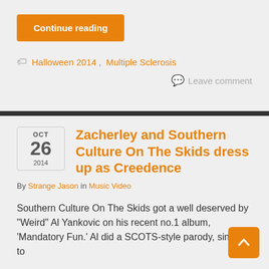Continue reading
Halloween 2014, Multiple Sclerosis
Leave comment
Zacherley and Southern Culture On The Skids dress up as Creedence
By Strange Jason in Music Video
Southern Culture On The Skids got a well deserved by "Weird" Al Yankovic on his recent no.1 album, 'Mandatory Fun.' Al did a SCOTS-style parody, similar to